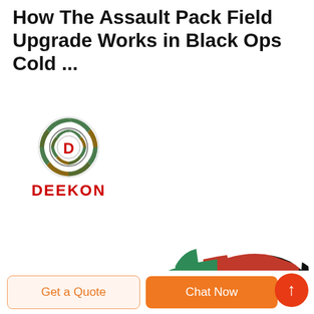How The Assault Pack Field Upgrade Works in Black Ops Cold ...
[Figure (logo): DEEKON brand logo: circular camouflage-patterned target icon with a red 'D' in the center, above bold red text 'DEEKON']
[Figure (photo): A sneaker/trainer shoe with green suede toe box, white ribbed mid-section with pink accents, red upper, and black sole — athletic/lifestyle shoe displayed on white background]
Get a Quote
Chat Now